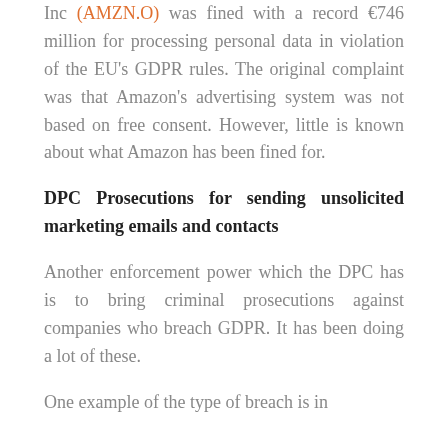Inc (AMZN.O) was fined with a record €746 million for processing personal data in violation of the EU's GDPR rules. The original complaint was that Amazon's advertising system was not based on free consent. However, little is known about what Amazon has been fined for.
DPC Prosecutions for sending unsolicited marketing emails and contacts
Another enforcement power which the DPC has is to bring criminal prosecutions against companies who breach GDPR. It has been doing a lot of these.
One example of the type of breach is in